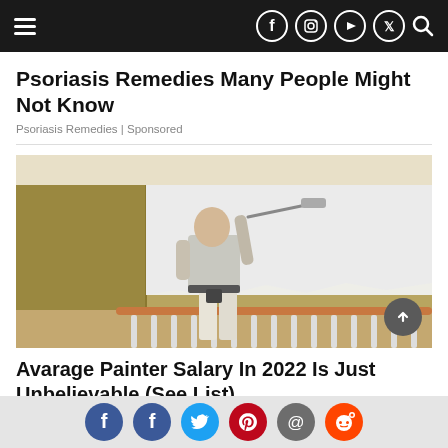Navigation bar with hamburger menu and social media icons (Facebook, Instagram, YouTube, Twitter, Search)
Psoriasis Remedies Many People Might Not Know
Psoriasis Remedies | Sponsored
[Figure (photo): A bald man in a grey t-shirt painting an interior wall white with a paint roller. He is standing on a staircase landing with wooden balustrades. The walls are tan/gold colored. Photo taken from behind.]
Avarage Painter Salary In 2022 Is Just Unbelievable (See List)
Social sharing bar with Facebook, Facebook, Twitter, Pinterest, Email, Reddit icons